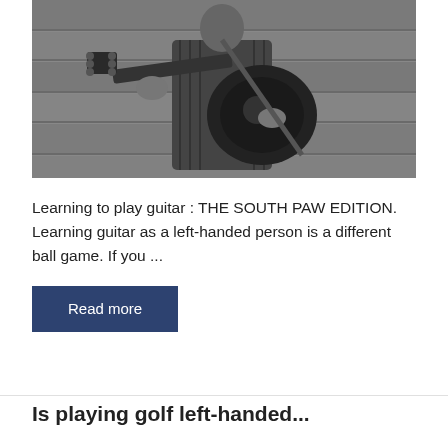[Figure (photo): Black and white photo of a person playing acoustic guitar, wearing a striped jacket, against a stone wall background]
Learning to play guitar : THE SOUTH PAW EDITION. Learning guitar as a left-handed person is a different ball game. If you ...
Read more
Is playing golf left-handed...